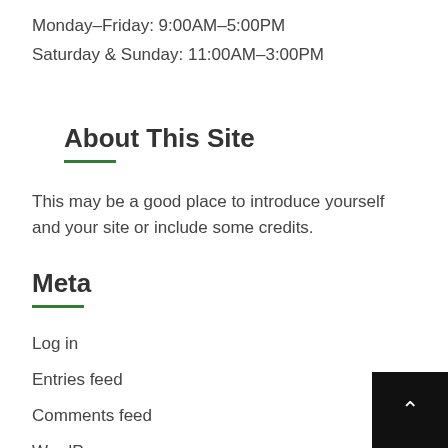Monday–Friday: 9:00AM–5:00PM
Saturday & Sunday: 11:00AM–3:00PM
About This Site
This may be a good place to introduce yourself and your site or include some credits.
Meta
Log in
Entries feed
Comments feed
WordPress.org